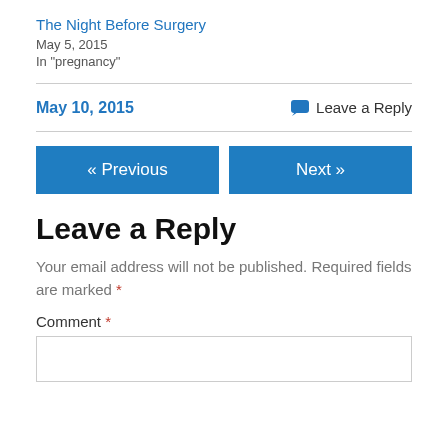The Night Before Surgery
May 5, 2015
In "pregnancy"
May 10, 2015
Leave a Reply
« Previous
Next »
Leave a Reply
Your email address will not be published. Required fields are marked *
Comment *